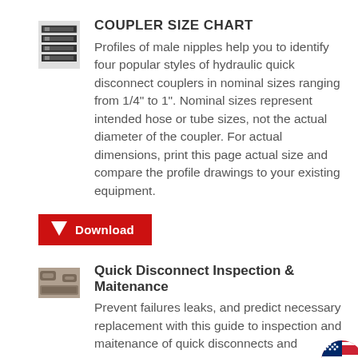[Figure (illustration): Thumbnail image of coupler size chart showing rows of coupler profiles]
COUPLER SIZE CHART
Profiles of male nipples help you to identify four popular styles of hydraulic quick disconnect couplers in nominal sizes ranging from 1/4" to 1". Nominal sizes represent intended hose or tube sizes, not the actual diameter of the coupler. For actual dimensions, print this page actual size and compare the profile drawings to your existing equipment.
[Figure (other): Red download button with downward pointing triangle arrow and text 'Download']
[Figure (photo): Thumbnail photo of quick disconnect couplers]
Quick Disconnect Inspection & Maitenance
Prevent failures leaks, and predict necessary replacement with this guide to inspection and maitenance of quick disconnects and
[Figure (logo): American flag circular badge in bottom right corner]